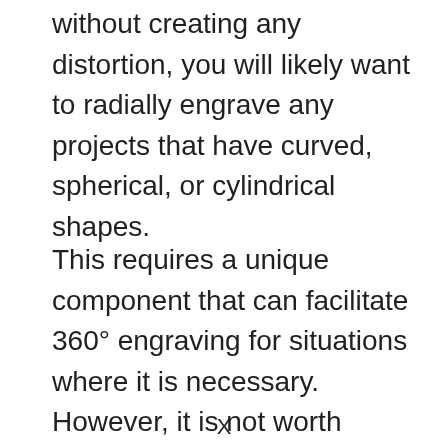without creating any distortion, you will likely want to radially engrave any projects that have curved, spherical, or cylindrical shapes.
This requires a unique component that can facilitate 360° engraving for situations where it is necessary. However, it is not worth purchasing this component if you do not see yourself engraving rounded objects frequently.
X